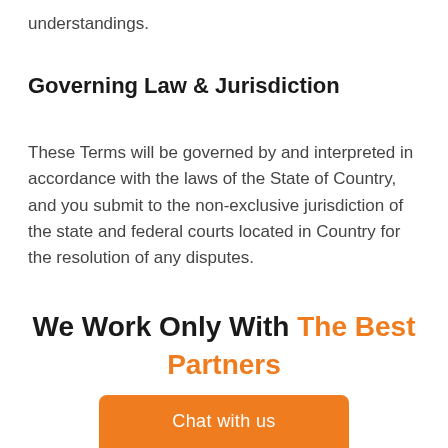understandings.
Governing Law & Jurisdiction
These Terms will be governed by and interpreted in accordance with the laws of the State of Country, and you submit to the non-exclusive jurisdiction of the state and federal courts located in Country for the resolution of any disputes.
We Work Only With The Best Partners
Chat with us